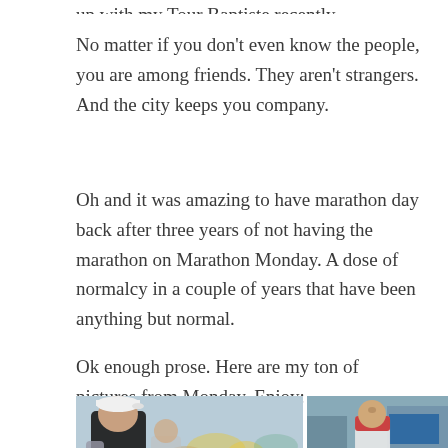No matter if you don't even know the people, you are among friends. They aren't strangers. And the city keeps you company.
Oh and it was amazing to have marathon day back after three years of not having the marathon on Marathon Monday. A dose of normalcy in a couple of years that have been anything but normal.
Ok enough prose. Here are my ton of pictures from Monday. Enjoy:
[Figure (photo): Two side-by-side marathon race photos. Left photo shows a male runner in a black tank top with a white cap in the foreground, with a crowd of runners behind him. Right photo shows a male runner in a red and white singlet running on a city street.]